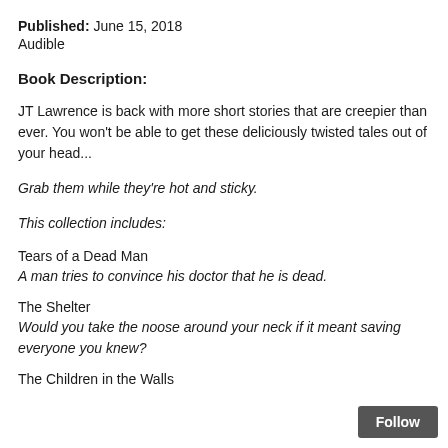Published: June 15, 2018
Audible
Book Description:
JT Lawrence is back with more short stories that are creepier than ever. You won't be able to get these deliciously twisted tales out of your head...
Grab them while they're hot and sticky.
This collection includes:
Tears of a Dead Man
A man tries to convince his doctor that he is dead.
The Shelter
Would you take the noose around your neck if it meant saving everyone you knew?
The Children in the Walls